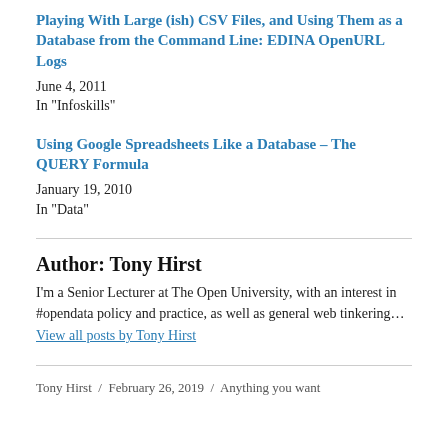Playing With Large (ish) CSV Files, and Using Them as a Database from the Command Line: EDINA OpenURL Logs
June 4, 2011
In "Infoskills"
Using Google Spreadsheets Like a Database – The QUERY Formula
January 19, 2010
In "Data"
Author: Tony Hirst
I'm a Senior Lecturer at The Open University, with an interest in #opendata policy and practice, as well as general web tinkering… View all posts by Tony Hirst
Tony Hirst / February 26, 2019 / Anything you want